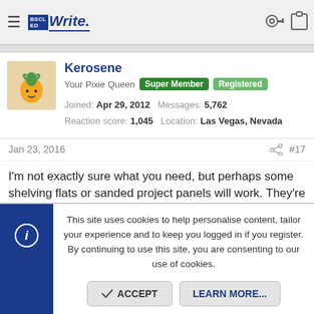≡  [logo] Write  [key icon] [clipboard icon]
Kerosene
Your Pixie Queen  Super Member  Registered
Joined: Apr 29, 2012  Messages: 5,762
Reaction score: 1,045  Location: Las Vegas, Nevada
Jan 23, 2016   #17
I'm not exactly sure what you need, but perhaps some shelving flats or sanded project panels will work. They're typically rather small and thick enough to support a good amount of weight, between 1/2" to 3/4". Most hardware stores carry these; the shelf layers can be found
This site uses cookies to help personalise content, tailor your experience and to keep you logged in if you register.
By continuing to use this site, you are consenting to our use of cookies.
ACCEPT  LEARN MORE...